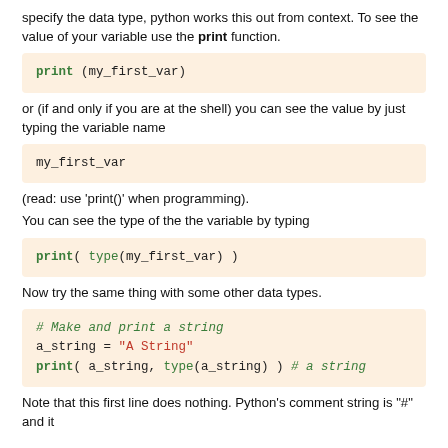specify the data type, python works this out from context. To see the value of your variable use the print function.
print (my_first_var)
or (if and only if you are at the shell) you can see the value by just typing the variable name
my_first_var
(read: use 'print()' when programming).
You can see the type of the the variable by typing
print( type(my_first_var) )
Now try the same thing with some other data types.
# Make and print a string
a_string = "A String"
print( a_string, type(a_string) ) # a string
Note that this first line does nothing. Python's comment string is "#" and it